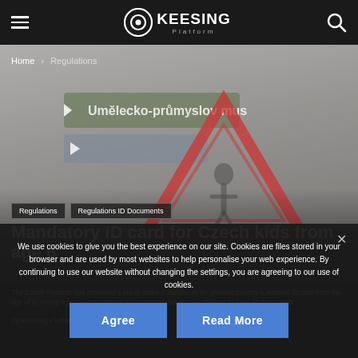Keesing Platform navigation bar
[Figure (screenshot): Hero image background showing Czech road signs and warning triangle sign, grayscale/muted, with a silhouette of a person]
Home › Regulations
Regulations
Regulations ID Documents
Mandatory ID card for Czech kids from age 6
The Czech Republic has proposed a law to make it mandatory for children to carry a national ID...
By Keesing Platform - 05/11/2019  162
We use cookies to give you the best experience on our site. Cookies are files stored in your browser and are used by most websites to help personalise your web experience. By continuing to use our website without changing the settings, you are agreeing to our use of cookies.
Agree
Read More